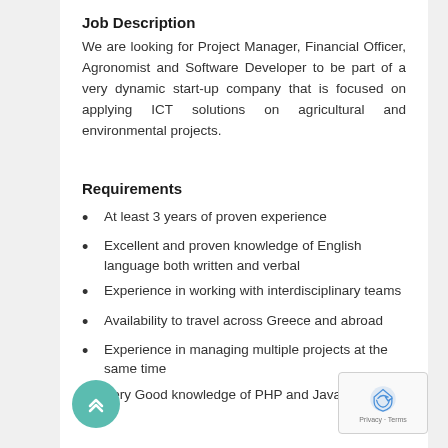Job Description
We are looking for Project Manager, Financial Officer, Agronomist and Software Developer to be part of a very dynamic start-up company that is focused on applying ICT solutions on agricultural and environmental projects.
Requirements
At least 3 years of proven experience
Excellent and proven knowledge of English language both written and verbal
Experience in working with interdisciplinary teams
Availability to travel across Greece and abroad
Experience in managing multiple projects at the same time
Very Good knowledge of PHP and Java (Software…